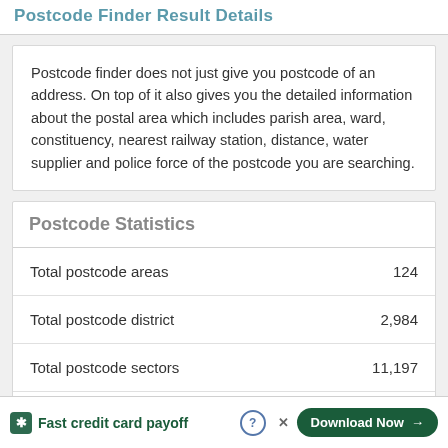Postcode Finder Result Details
Postcode finder does not just give you postcode of an address. On top of it also gives you the detailed information about the postal area which includes parish area, ward, constituency, nearest railway station, distance, water supplier and police force of the postcode you are searching.
Postcode Statistics
|  |  |
| --- | --- |
| Total postcode areas | 124 |
| Total postcode district | 2,984 |
| Total postcode sectors | 11,197 |
| Total postcode units | 1,767,416 |